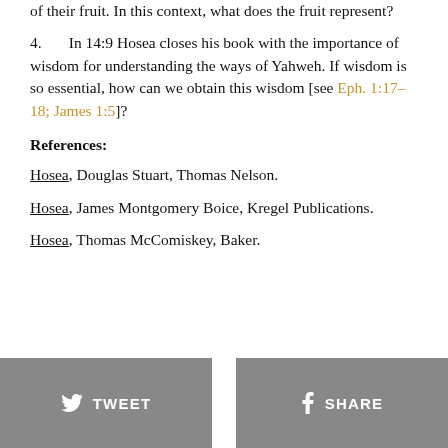of their fruit. In this context, what does the fruit represent?
4.     In 14:9 Hosea closes his book with the importance of wisdom for understanding the ways of Yahweh. If wisdom is so essential, how can we obtain this wisdom [see Eph. 1:17–18; James 1:5]?
References:
Hosea, Douglas Stuart, Thomas Nelson.
Hosea, James Montgomery Boice, Kregel Publications.
Hosea, Thomas McComiskey, Baker.
[Figure (other): Tweet and Share social media buttons at the bottom of the page]